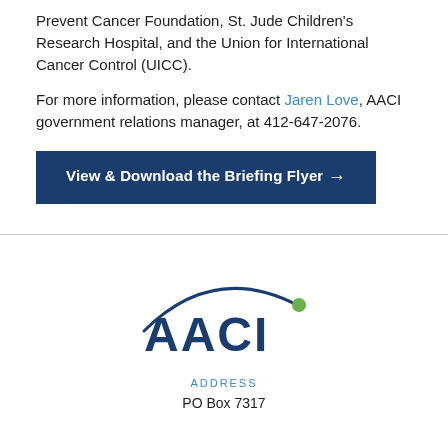Prevent Cancer Foundation, St. Jude Children's Research Hospital, and the Union for International Cancer Control (UICC).
For more information, please contact Jaren Love, AACI government relations manager, at 412-647-2076.
View & Download the Briefing Flyer →
[Figure (logo): AACI logo with dark blue arc and green dot above lettering]
ADDRESS
PO Box 7317